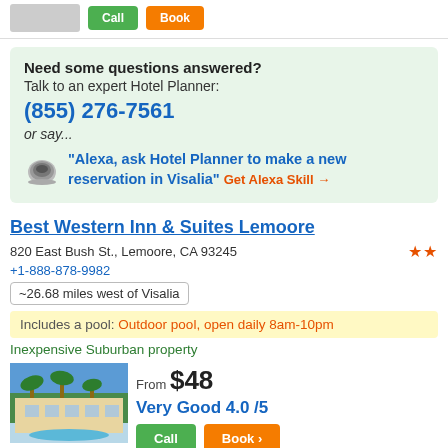Need some questions answered?
Talk to an expert Hotel Planner:
(855) 276-7561
or say...
"Alexa, ask Hotel Planner to make a new reservation in Visalia" Get Alexa Skill →
Best Western Inn & Suites Lemoore
820 East Bush St., Lemoore, CA 93245
+1-888-878-9982
~26.68 miles west of Visalia
Includes a pool: Outdoor pool, open daily 8am-10pm
Inexpensive Suburban property
From $48
Very Good 4.0 /5